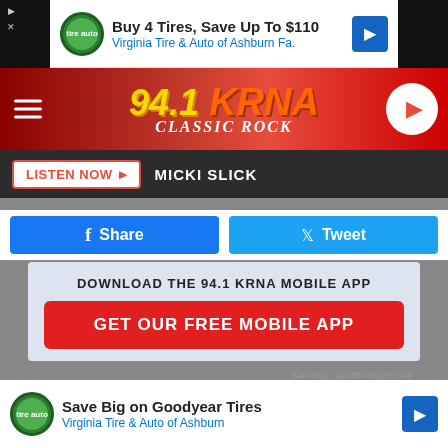[Figure (screenshot): Top advertisement banner: Buy 4 Tires, Save Up To $110 - Virginia Tire & Auto of Ashburn Fa. with tire dealer logo and blue arrow icon]
[Figure (logo): 94.1 KRNA Classic Rock radio station header logo on red gradient background with hamburger menu and play button]
LISTEN NOW  MICKI SLICK
[Figure (screenshot): Social sharing buttons: Facebook Share button (dark blue) and Twitter Tweet button (light blue)]
DOWNLOAD THE 94.1 KRNA MOBILE APP
GET OUR FREE MOBILE APP
Courtesy : peststrategies.com
Also listen on:  amazon alexa
People help with sleep to... and describe sparrows being their 's... e better
[Figure (screenshot): Bottom advertisement banner: Save Big on Goodyear Tires - Virginia Tire & Auto of Ashburn with tire dealer logo and blue arrow icon]